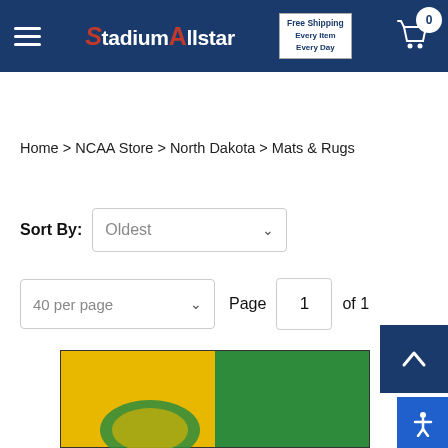StadiumAllstar — Free Shipping Every Item Every Day
Home > NCAA Store > North Dakota > Mats & Rugs
Sort By: Oldest
40 per page   Page 1 of 1
[Figure (photo): Green and gold/yellow rug with North Dakota logo, partially visible at bottom of page]